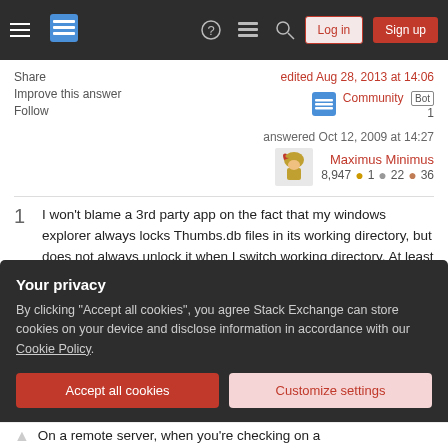Stack Exchange navigation bar with hamburger menu, logo, help, chat, search icons, Log in and Sign up buttons
Share | Improve this answer | Follow
edited Aug 28, 2013 at 14:06 Community Bot 1
answered Oct 12, 2009 at 14:27 Maximus Minimus 8,947 ●1 ●22 ●36
1 I won't blame a 3rd party app on the fact that my windows explorer always locks Thumbs.db files in its working directory, but does not always unlock it when I switch working directory. At least they are unlocked when I close the window. I don't have to kill ALL
Your privacy
By clicking "Accept all cookies", you agree Stack Exchange can store cookies on your device and disclose information in accordance with our Cookie Policy.
Accept all cookies | Customize settings
On a remote server, when you're checking on a